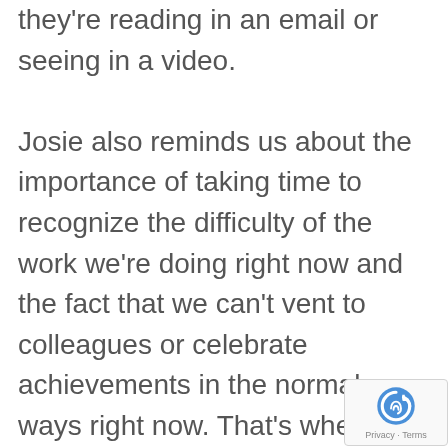they're reading in an email or seeing in a video.

Josie also reminds us about the importance of taking time to recognize the difficulty of the work we're doing right now and the fact that we can't vent to colleagues or celebrate achievements in the normal ways right now. That's where the digital hug comes in. Josie talks about how she uses them and the power of building mastermind cohorts that are